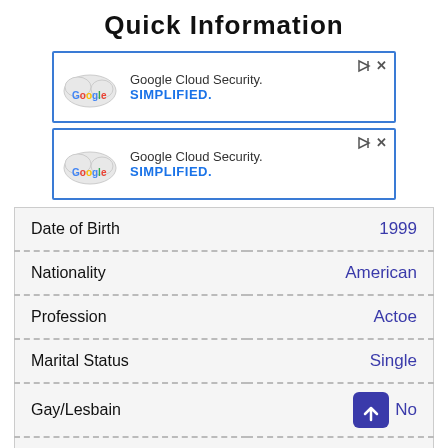Quick Information
[Figure (other): Google Cloud Security advertisement banner 1]
[Figure (other): Google Cloud Security advertisement banner 2]
| Field | Value |
| --- | --- |
| Date of Birth | 1999 |
| Nationality | American |
| Profession | Actoe |
| Marital Status | Single |
| Gay/Lesbain | No |
| Ethnicity | Mixed |
| Net Worth | N/A |